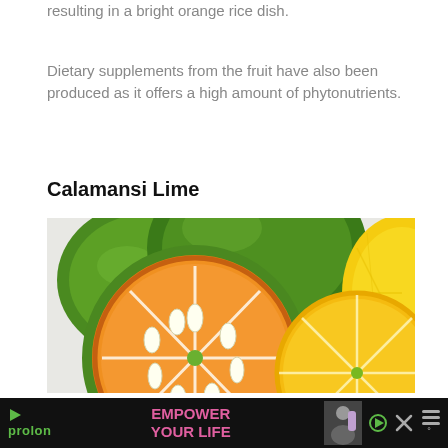resulting in a bright orange rice dish.
Dietary supplements from the fruit have also been produced as it offers a high amount of phytonutrients.
Calamansi Lime
[Figure (photo): Close-up photo of calamansi limes: two whole green limes in the background, one cut lime half showing orange interior with white seeds in the foreground left, and a yellow citrus half on the right.]
[Figure (infographic): Advertisement bar at the bottom: black background with Prolon logo (green play triangle and green 'prolon' text), pink bold text 'EMPOWER YOUR LIFE', a photo of a person holding a bottle, a small play button, an X close button, and a menu icon with degree symbol.]